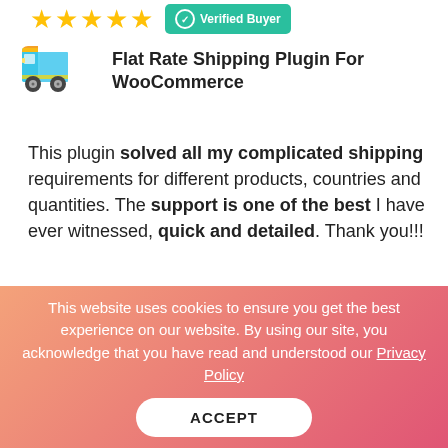[Figure (illustration): Five gold star rating icons]
[Figure (illustration): Green verified buyer badge with checkmark]
[Figure (illustration): Colorful delivery truck icon]
Flat Rate Shipping Plugin For WooCommerce
This plugin solved all my complicated shipping requirements for different products, countries and quantities. The support is one of the best I have ever witnessed, quick and detailed. Thank you!!!
[Figure (photo): Circular avatar photo of Gordan Bosnjak]
Gordan Bosnjak
Jul, 2020
This website uses cookies to ensure you get the best experience on our website. By using our site, you acknowledge that you have read and understood our Privacy Policy
ACCEPT